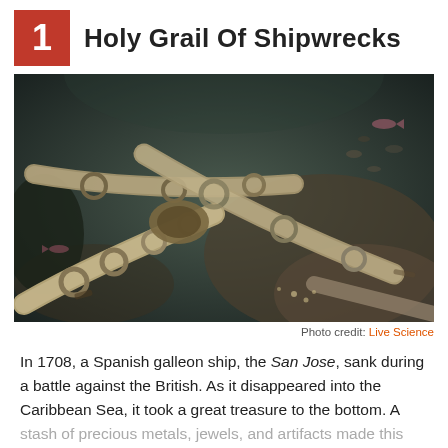1  Holy Grail Of Shipwrecks
[Figure (photo): Underwater photograph of ancient cannon barrels encrusted with marine growth resting on the ocean floor, with fish visible in the background and scattered debris around them.]
Photo credit: Live Science
In 1708, a Spanish galleon ship, the San Jose, sank during a battle against the British. As it disappeared into the Caribbean Sea, it took a great treasure to the bottom. A stash of precious metals, jewels, and artifacts made this vessel the holy grail sought by treasure hunters and